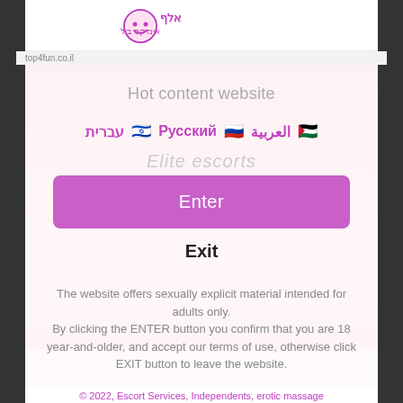[Figure (screenshot): Website age-verification modal overlay for an adult escort/erotic content site, with Hebrew logo text, language selection buttons (Hebrew, Russian, Arabic with flags), Enter and Exit buttons, and an adult content disclaimer.]
Hot content website
עברית 🇮🇱  Русский 🇷🇺  العربية 🇵🇸
Enter
Exit
The website offers sexually explicit material intended for adults only. By clicking the ENTER button you confirm that you are 18 year-and-older, and accept our terms of use, otherwise click EXIT button to leave the website.
© 2022, Escort Services, Independents, erotic massage